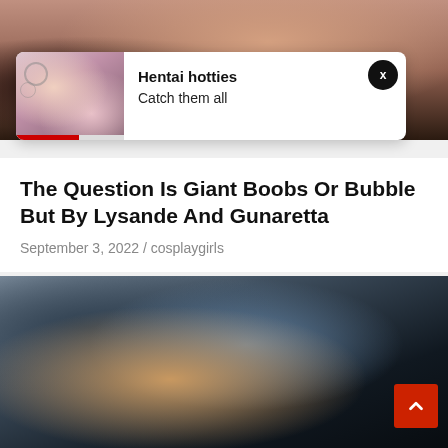[Figure (photo): Top banner photo showing a person in dark lingerie, partially cropped]
[Figure (infographic): Advertisement overlay card with anime/hentai thumbnail image, title 'Hentai hotties', subtitle 'Catch them all', close button (X), and red progress bar]
The Question Is Giant Boobs Or Bubble But By Lysande And Gunaretta
September 3, 2022 / cosplaygirls
[Figure (photo): Bottom photo of a woman with dark blue/black hair wearing a black fishnet top and dark string neckline]